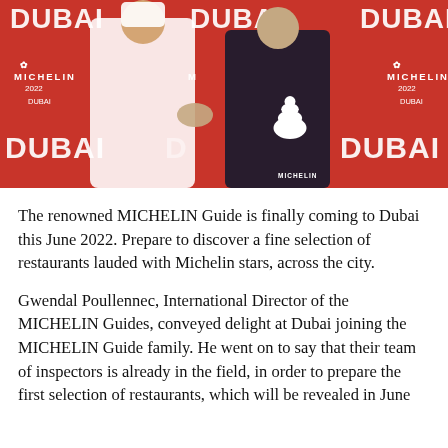[Figure (photo): Two men shaking hands in front of a red MICHELIN Guide Dubai 2022 branded backdrop. One man is wearing a white traditional UAE kandura, the other is wearing a dark suit. The backdrop features repeated MICHELIN and DUBAI logos.]
The renowned MICHELIN Guide is finally coming to Dubai this June 2022. Prepare to discover a fine selection of restaurants lauded with Michelin stars, across the city.
Gwendal Poullennec, International Director of the MICHELIN Guides, conveyed delight at Dubai joining the MICHELIN Guide family. He went on to say that their team of inspectors is already in the field, in order to prepare the first selection of restaurants, which will be revealed in June